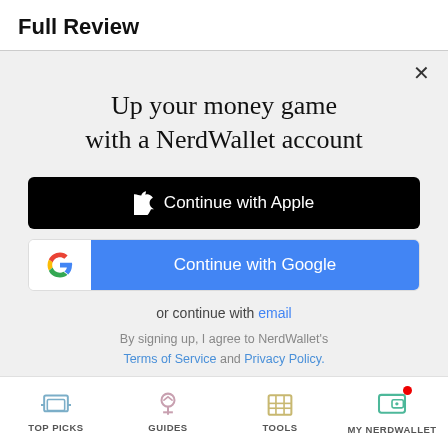Full Review
[Figure (screenshot): NerdWallet sign-up modal with 'Up your money game with a NerdWallet account' headline, Continue with Apple button (black), Continue with Google button (blue with Google G icon), or continue with email link, and Terms of Service and Privacy Policy links]
TOP PICKS   GUIDES   TOOLS   MY NERDWALLET